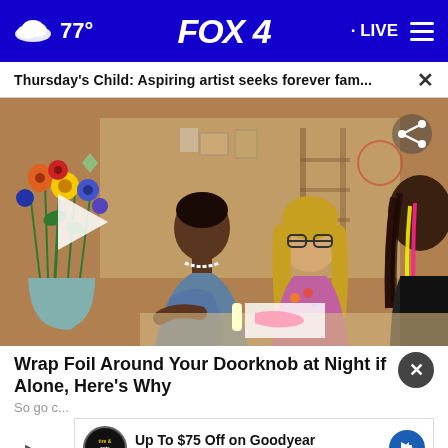FOX 4 · 77° · LIVE
Thursday's Child: Aspiring artist seeks forever fam... ×
[Figure (screenshot): Video thumbnail showing three people sitting at a table in what appears to be an art studio. There are colorful flowers on the left. A white play button triangle is visible on the left side. A share icon is in the top-right corner.]
Wrap Foil Around Your Doorknob at Night if Alone, Here's Why
So go c...
[Figure (infographic): Advertisement banner: Up To $75 Off on Goodyear Tires at Virginia Tire & Auto, with Goodyear logo and blue directional arrow icon.]
[Figure (photo): Bottom strip showing a partial image in warm tan/brown tones.]